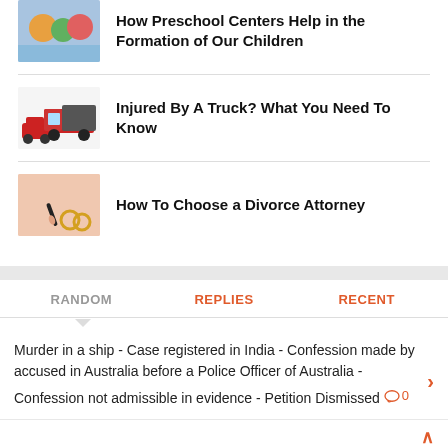How Preschool Centers Help in the Formation of Our Children
Injured By A Truck? What You Need To Know
How To Choose a Divorce Attorney
RANDOM   REPLIES   RECENT
Murder in a ship - Case registered in India - Confession made by accused in Australia before a Police Officer of Australia - Confession not admissible in evidence - Petition Dismissed 0